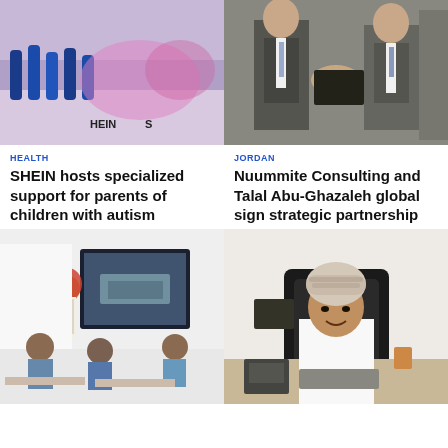[Figure (photo): Blue bottles and pink event decor on a table, with SHEIN branding visible]
[Figure (photo): Men in suits shaking hands at a business signing event]
HEALTH
SHEIN hosts specialized support for parents of children with autism
JORDAN
Nuummite Consulting and Talal Abu-Ghazaleh global sign strategic partnership
[Figure (photo): A woman in a hijab presenting at a screen showing a cargo ship, with seated attendees in a training room]
[Figure (photo): An Omani man in traditional dress and kuma seated at a desk in an office]